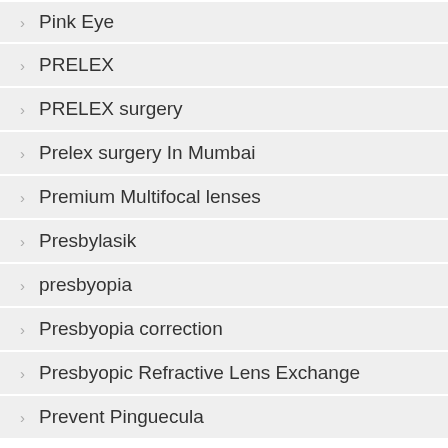Pink Eye
PRELEX
PRELEX surgery
Prelex surgery In Mumbai
Premium Multifocal lenses
Presbylasik
presbyopia
Presbyopia correction
Presbyopic Refractive Lens Exchange
Prevent Pinguecula